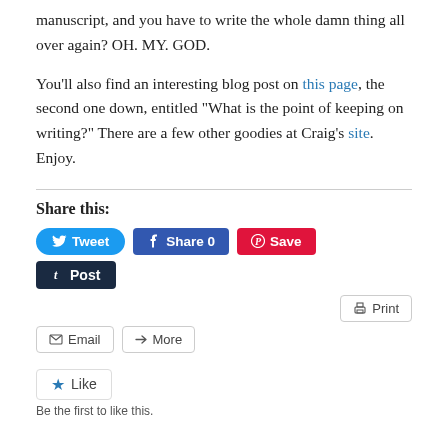manuscript, and you have to write the whole damn thing all over again? OH. MY. GOD.
You'll also find an interesting blog post on this page, the second one down, entitled “What is the point of keeping on writing?” There are a few other goodies at Craig’s site. Enjoy.
Share this:
[Figure (other): Social share buttons: Tweet (Twitter, blue), Share 0 (Facebook, dark blue), Save (Pinterest, red), Post (Tumblr, dark navy), Print (outline), Email (outline), More (outline), Like button with star icon, 'Be the first to like this.' text]